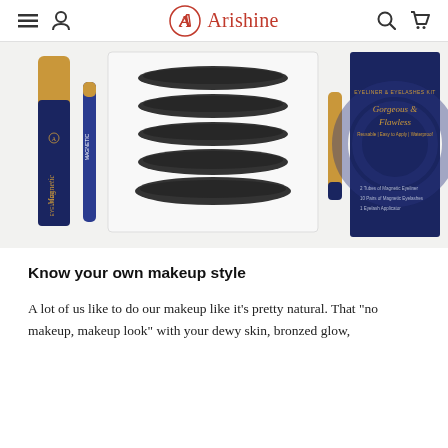Arishine
[Figure (photo): Product photo showing Arishine Magnetic Eyeliner & Eyelashes Kit — Gorgeous & Flawless. Features two magnetic eyeliner tubes (one large gold-and-navy, one small blue), a tray of 7 pairs of magnetic false eyelashes, a small gold eyelash applicator tube, and the navy product box labeled 'Gorgeous & Flawless — Reusable, Easy to Apply, Waterproof.']
Know your own makeup style
A lot of us like to do our makeup like it's pretty natural. That "no makeup, makeup look" with your dewy skin, bronzed glow,